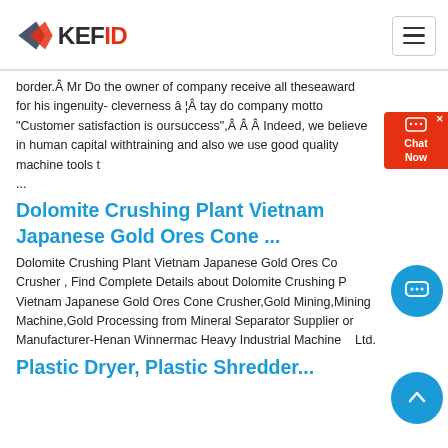KEFID logo and navigation
border.Â Mr Do the owner of company receive all theseaward for his ingenuity- cleverness â ¦Â tay do company motto "Customer satisfaction is oursuccess",Â Â Â Indeed, we believe in human capital withtraining and also we use good quality machine tools t...
Dolomite Crushing Plant Vietnam Japanese Gold Ores Cone ...
Dolomite Crushing Plant Vietnam Japanese Gold Ores Cone Crusher , Find Complete Details about Dolomite Crushing Plant Vietnam Japanese Gold Ores Cone Crusher,Gold Mining,Mining Machine,Gold Processing from Mineral Separator Supplier or Manufacturer-Henan Winnermac Heavy Industrial Machinery Ltd.
Plastic Dryer, Plastic Shredder...